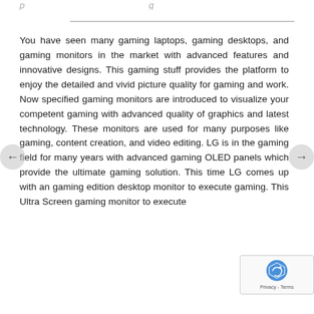You have seen many gaming laptops, gaming desktops, and gaming monitors in the market with advanced features and innovative designs. This gaming stuff provides the platform to enjoy the detailed and vivid picture quality for gaming and work. Now specified gaming monitors are introduced to visualize your competent gaming with advanced quality of graphics and latest technology. These monitors are used for many purposes like gaming, content creation, and video editing. LG is in the gaming field for many years with advanced gaming OLED panels which provide the ultimate gaming solution. This time LG comes up with an gaming edition desktop monitor to execute gaming. This Ultra Screen gaming monitor of S